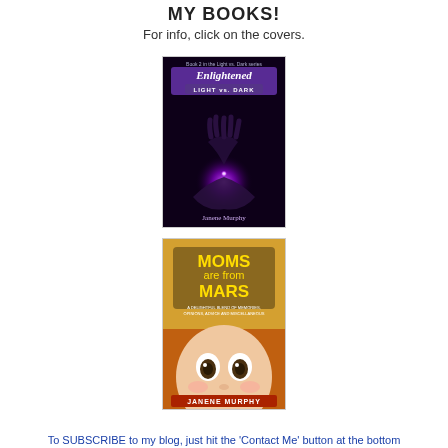MY BOOKS!
For info, click on the covers.
[Figure (photo): Book cover: 'Enlightened LIGHT vs. DARK' by Janene Murphy. Dark background with glowing purple light in hands.]
[Figure (photo): Book cover: 'MOMS are from MARS' by Janene Murphy. Features a doll face in foreground with colorful background.]
To SUBSCRIBE to my blog, just hit the 'Contact Me' button at the bottom